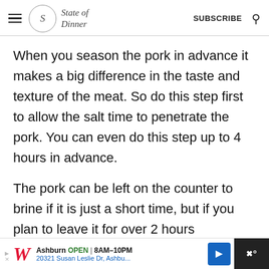State of Dinner | SUBSCRIBE
When you season the pork in advance it makes a big difference in the taste and texture of the meat. So do this step first to allow the salt time to penetrate the pork. You can even do this step up to 4 hours in advance.
The pork can be left on the counter to brine if it is just a short time, but if you plan to leave it for over 2 hours
Ashburn OPEN 8AM–10PM 20321 Susan Leslie Dr, Ashbu...